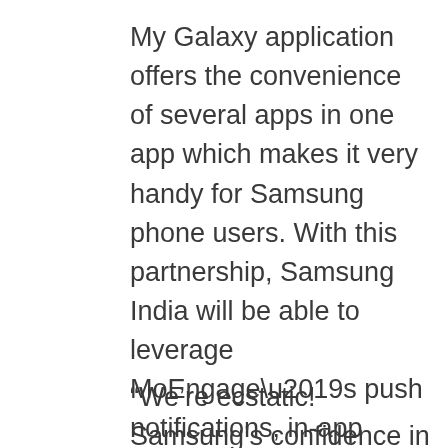My Galaxy application offers the convenience of several apps in one app which makes it very handy for Samsung phone users. With this partnership, Samsung India will be able to leverage MoEngage’s push notifications, in-app messages, and email marketing capabilities to keep My Galaxy application users engaged and encourage app usage. Using MoEngage’s superior user intelligence and engagement platform, Samsung will be able to further understand their app users better for tailoring future services.
“We’re ecstatic! Samsung’s confidence in MoEngage as a preferred growth partner is a real boost to our mission and commitment to